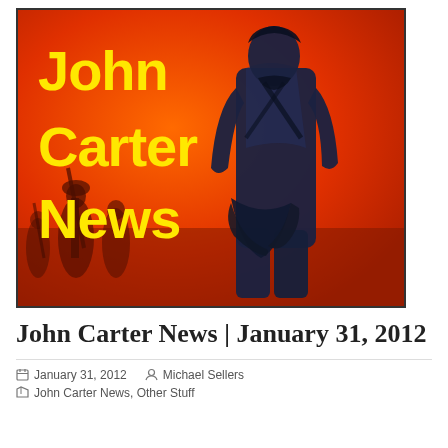[Figure (illustration): John Carter News banner image: orange/red background with silhouetted warrior figures. A dark-blue toned figure of a man in warrior garb stands in the foreground. Bold yellow text reads 'John Carter News' in large chunky letters on the left side.]
John Carter News | January 31, 2012
January 31, 2012   Michael Sellers   John Carter News, Other Stuff